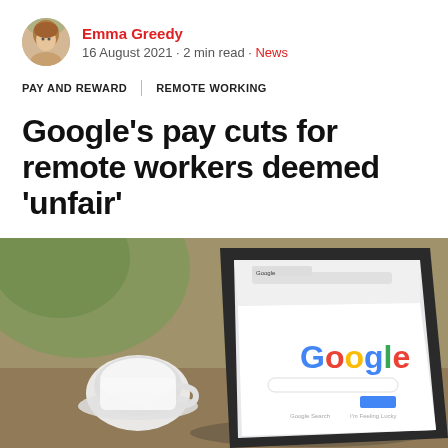Emma Greedy — 16 August 2021 · 2 min read · News
PAY AND REWARD | REMOTE WORKING
Google's pay cuts for remote workers deemed 'unfair'
[Figure (photo): Samsung tablet displaying the Google search homepage on a table with a white coffee cup in the background]